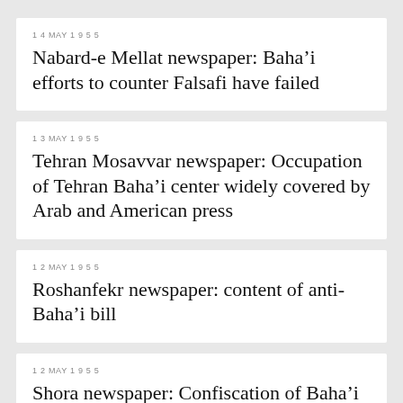14 MAY 1955
Nabard-e Mellat newspaper: Baha’i efforts to counter Falsafi have failed
13 MAY 1955
Tehran Mosavvar newspaper: Occupation of Tehran Baha’i center widely covered by Arab and American press
12 MAY 1955
Roshanfekr newspaper: content of anti-Baha’i bill
12 MAY 1955
Shora newspaper: Confiscation of Baha’i center in Yazd